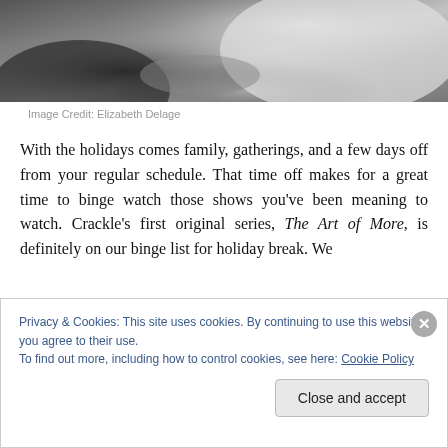[Figure (photo): Black and white photo of people, partially visible, cropped at top of page]
Image Credit: Elizabeth Delage
With the holidays comes family, gatherings, and a few days off from your regular schedule. That time off makes for a great time to binge watch those shows you've been meaning to watch. Crackle's first original series, The Art of More, is definitely on our binge list for holiday break. We
Privacy & Cookies: This site uses cookies. By continuing to use this website, you agree to their use.
To find out more, including how to control cookies, see here: Cookie Policy
Close and accept